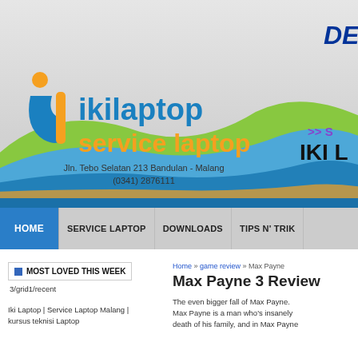[Figure (screenshot): ikilaptop service laptop website header banner with logo, address, wave graphics, Dell logo, and navigation bar]
MOST LOVED THIS WEEK
3/grid1/recent
Iki Laptop | Service Laptop Malang | kursus teknisi Laptop
Home » game review » Max Payne
Max Payne 3 Review
The even bigger fall of Max Payne. Max Payne is a man who's insanely death of his family, and in Max Payne